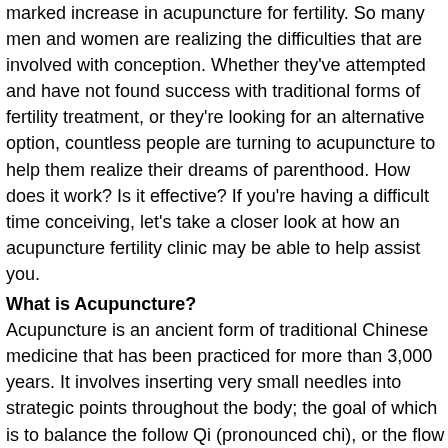marked increase in acupuncture for fertility. So many men and women are realizing the difficulties that are involved with conception. Whether they've attempted and have not found success with traditional forms of fertility treatment, or they're looking for an alternative option, countless people are turning to acupuncture to help them realize their dreams of parenthood. How does it work? Is it effective? If you're having a difficult time conceiving, let's take a closer look at how an acupuncture fertility clinic may be able to help assist you.
What is Acupuncture?
Acupuncture is an ancient form of traditional Chinese medicine that has been practiced for more than 3,000 years. It involves inserting very small needles into strategic points throughout the body; the goal of which is to balance the follow Qi (pronounced chi), or the flow of energy, through meridians, or pathways, within the body. Placing needles through these meridians helps the flow of energy – Qi – return to balance. When Qi is balanced, health and well-being are restored.
In Western medicine, it is believed that acupuncture helps to